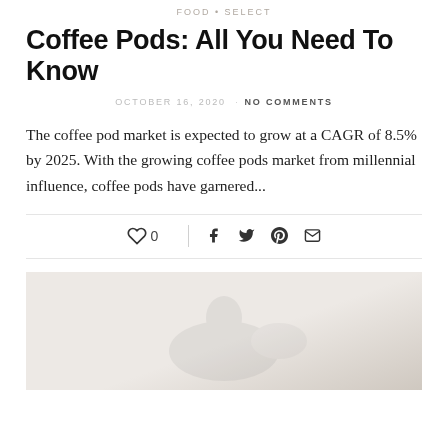FOOD • SELECT
Coffee Pods: All You Need To Know
OCTOBER 16, 2020  ·  NO COMMENTS
The coffee pod market is expected to grow at a CAGR of 8.5% by 2025. With the growing coffee pods market from millennial influence, coffee pods have garnered...
[Figure (infographic): Social sharing bar with heart/like icon showing 0 likes, a vertical divider, and social share icons for Facebook, Twitter, Pinterest, and Email]
[Figure (photo): A faded/washed-out photo of a person at a coffee table, light and airy aesthetic]